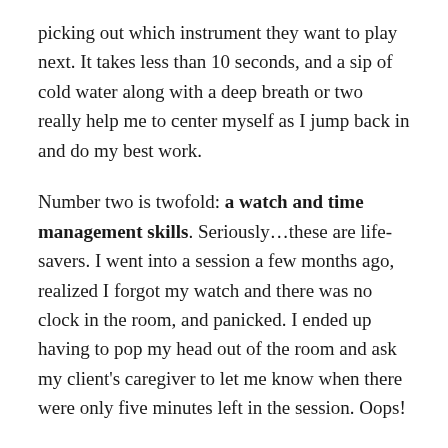picking out which instrument they want to play next. It takes less than 10 seconds, and a sip of cold water along with a deep breath or two really help me to center myself as I jump back in and do my best work.
Number two is twofold: a watch and time management skills. Seriously…these are life-savers. I went into a session a few months ago, realized I forgot my watch and there was no clock in the room, and panicked. I ended up having to pop my head out of the room and ask my client's caregiver to let me know when there were only five minutes left in the session. Oops!